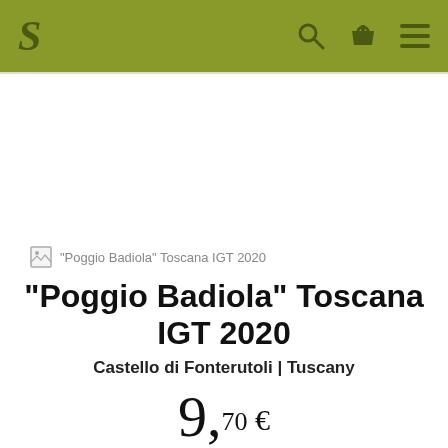S [logo] [search icon] [basket icon] [menu icon]
[Figure (photo): Product image placeholder (broken image) for Poggio Badiola Toscana IGT 2020 wine bottle]
"Poggio Badiola" Toscana IGT 2020
"Poggio Badiola" Toscana IGT 2020
Castello di Fonterutoli | Tuscany
9,70 €
0,75 l · 12,93 €/l · incl. VAT, excl. Shipping